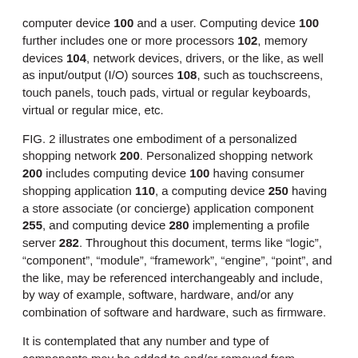computer device 100 and a user. Computing device 100 further includes one or more processors 102, memory devices 104, network devices, drivers, or the like, as well as input/output (I/O) sources 108, such as touchscreens, touch panels, touch pads, virtual or regular keyboards, virtual or regular mice, etc.
FIG. 2 illustrates one embodiment of a personalized shopping network 200. Personalized shopping network 200 includes computing device 100 having consumer shopping application 110, a computing device 250 having a store associate (or concierge) application component 255, and computing device 280 implementing a profile server 282. Throughout this document, terms like “logic”, “component”, “module”, “framework”, “engine”, “point”, and the like, may be referenced interchangeably and include, by way of example, software, hardware, and/or any combination of software and hardware, such as firmware.
It is contemplated that any number and type of components may be added to and/or removed from personalized shopping network 200 to facilitate various embodiments including adding, removing, and/or enhancing certain features. For brevity, clarity, and ease of understanding of personalized shopping network 200, many of the standard and/or known components, such as those of a computing device, are not shown or discussed here. It is contemplated that embodiments, as described herein, are not limited to any